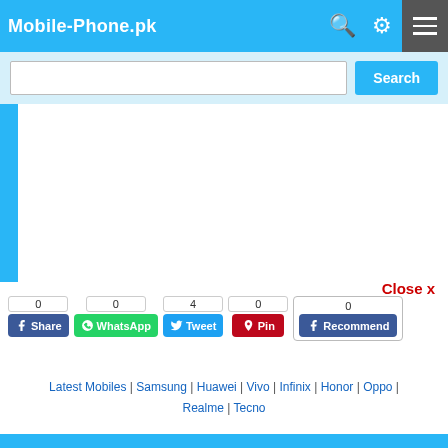Mobile-Phone.pk
Search
[Figure (screenshot): Blank white content area with left blue border strip]
Close x
0 Share | 0 WhatsApp | 4 Tweet | 0 Pin | 0 Recommend
Latest Mobiles | Samsung | Huawei | Vivo | Infinix | Honor | Oppo | Realme | Tecno